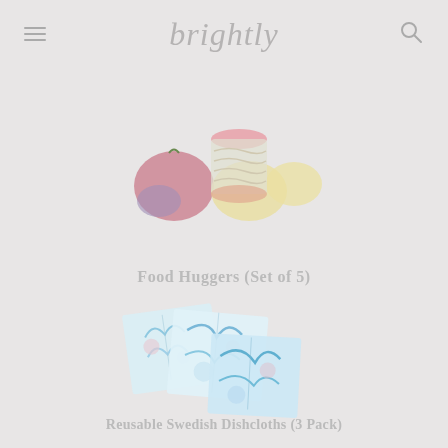brightly
[Figure (photo): Food Huggers product photo: colorful silicone food huggers of various sizes arranged with a tomato and lemon slices on a light background]
Food Huggers (Set of 5)
[Figure (photo): Reusable Swedish Dishcloths product photo: three floral-patterned blue and white dishcloths overlapping on a light background]
Reusable Swedish Dishcloths (3 Pack)